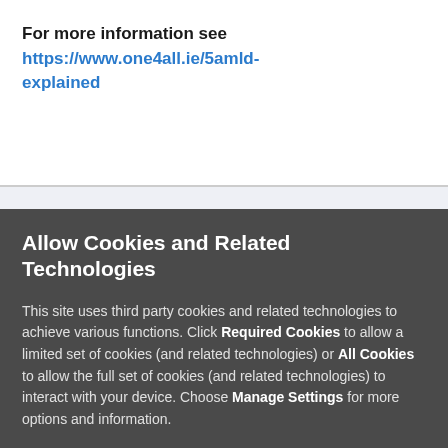For more information see https://www.one4all.ie/5amld-explained
Allow Cookies and Related Technologies
This site uses third party cookies and related technologies to achieve various functions. Click Required Cookies to allow a limited set of cookies (and related technologies) or All Cookies to allow the full set of cookies (and related technologies) to interact with your device. Choose Manage Settings for more options and information.
Required Cookies
All Cookies
Manage Settings